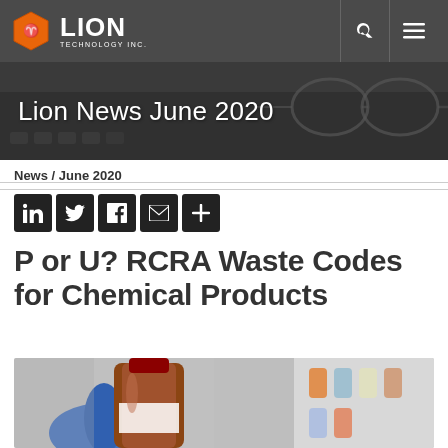[Figure (logo): Lion Technology Inc. logo with hexagon lion icon on dark nav bar with search and menu icons]
[Figure (photo): Hero banner with text 'Lion News June 2020' overlaid on a dark photo of glasses and a keyboard]
News / June 2020
[Figure (infographic): Social sharing buttons row: LinkedIn, Twitter, Facebook, Email, and Plus icons on black squares]
P or U? RCRA Waste Codes for Chemical Products
[Figure (photo): Photo of a gloved hand holding a brown chemical bottle in a laboratory setting]